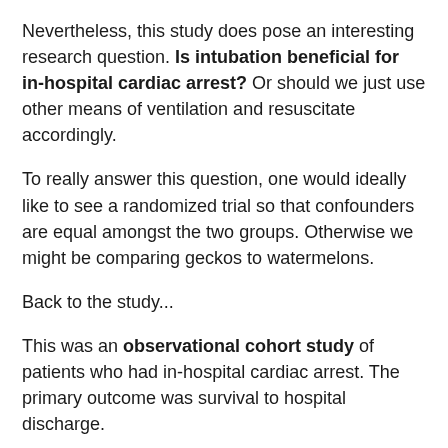Nevertheless, this study does pose an interesting research question. Is intubation beneficial for in-hospital cardiac arrest? Or should we just use other means of ventilation and resuscitate accordingly.
To really answer this question, one would ideally like to see a randomized trial so that confounders are equal amongst the two groups. Otherwise we might be comparing geckos to watermelons.
Back to the study...
This was an observational cohort study of patients who had in-hospital cardiac arrest. The primary outcome was survival to hospital discharge.
Of 71,615 patients who were intubated in the first 15 minutes, 60% were matched to a patient not intubated in the same minute.
Survival was lower among patients who were intubated 19.9% vs those not intubated 19.4%